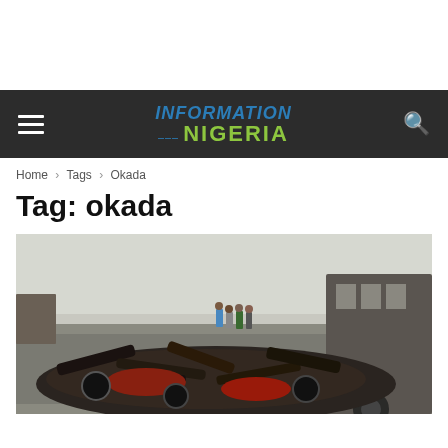Information Nigeria
Home › Tags › Okada
Tag: okada
[Figure (photo): Confiscated okada motorcycles piled on the road beside a large truck, with people and security forces in the background.]